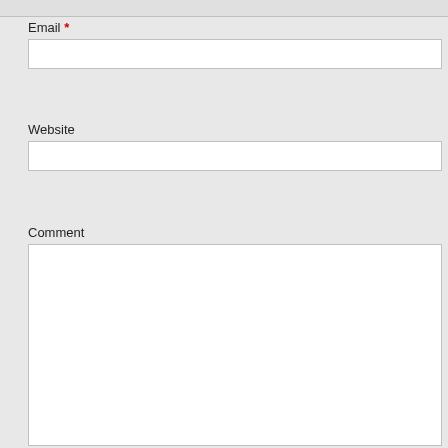Email *
Website
Comment
You may use these HTML tags and attributes: <a href="" title=""> <abbr title=""> <acronym title=""> <b> <blockquote cite=""> <cite> <code> <del datetime=""> <em> <i> <q cite=""> <strike> <strong>
Post Comment
Copyright
Powered by WordPress